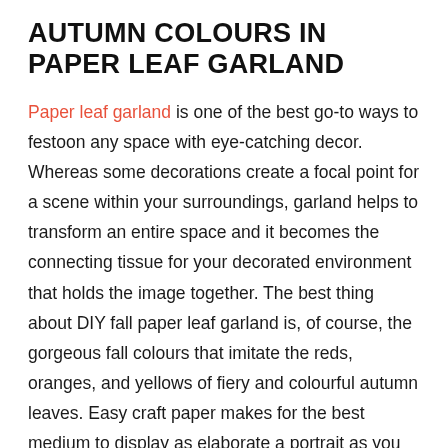AUTUMN COLOURS IN PAPER LEAF GARLAND
Paper leaf garland is one of the best go-to ways to festoon any space with eye-catching decor. Whereas some decorations create a focal point for a scene within your surroundings, garland helps to transform an entire space and it becomes the connecting tissue for your decorated environment that holds the image together. The best thing about DIY fall paper leaf garland is, of course, the gorgeous fall colours that imitate the reds, oranges, and yellows of fiery and colourful autumn leaves. Easy craft paper makes for the best medium to display as elaborate a portrait as you wish with the right mix of these instantly recognizable shades.